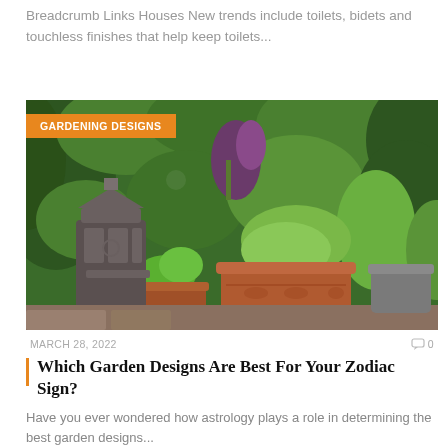Breadcrumb Links Houses New trends include toilets, bidets and touchless finishes that help keep toilets...
[Figure (photo): Garden scene with terracotta pots containing herbs and plants, a decorative metal lantern, surrounded by lush green foliage. Orange badge reads 'GARDENING DESIGNS'.]
MARCH 28, 2022   0
Which Garden Designs Are Best For Your Zodiac Sign?
Have you ever wondered how astrology plays a role in determining the best garden designs...